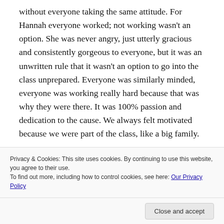without everyone taking the same attitude. For Hannah everyone worked; not working wasn't an option. She was never angry, just utterly gracious and consistently gorgeous to everyone, but it was an unwritten rule that it wasn't an option to go into the class unprepared. Everyone was similarly minded, everyone was working really hard because that was why they were there. It was 100% passion and dedication to the cause. We always felt motivated because we were part of the class, like a big family.
'Sometimes you would see someone play a sonata and you'd think it was absolutely fine. But then after a year with Hannah Roberts you would see
Privacy & Cookies: This site uses cookies. By continuing to use this website, you agree to their use. To find out more, including how to control cookies, see here: Our Privacy Policy
and beautiful musical ideas. She just managed to